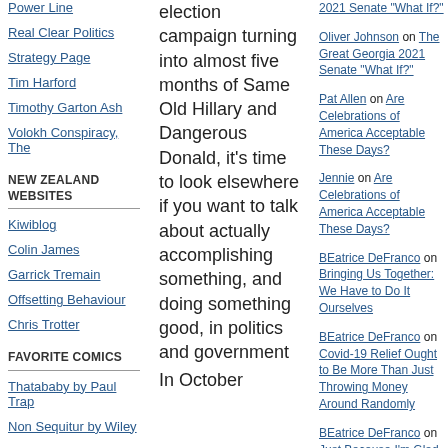Power Line
Real Clear Politics
Strategy Page
Tim Harford
Timothy Garton Ash
Volokh Conspiracy, The
NEW ZEALAND WEBSITES
Kiwiblog
Colin James
Garrick Tremain
Offsetting Behaviour
Chris Trotter
FAVORITE COMICS
Thatababy by Paul Trap
Non Sequitur by Wiley
OTHER WEBSITES
election campaign turning into almost five months of Same Old Hillary and Dangerous Donald, it's time to look elsewhere if you want to talk about actually accomplishing something, and doing something good, in politics and government In October
2021 Senate "What If?"
Oliver Johnson on The Great Georgia 2021 Senate "What If?"
Pat Allen on Are Celebrations of America Acceptable These Days?
Jennie on Are Celebrations of America Acceptable These Days?
BEatrice DeFranco on Bringing Us Together: We Have to Do It Ourselves
BEatrice DeFranco on Covid-19 Relief Ought to Be More Than Just Throwing Money Around Randomly
BEatrice DeFranco on Just Because I'm Glad Trump Is Leaving, Doesn't Mean I Agree With Biden
Susan Allen on Traveling Can Make Current Events More Current
Bob on A "Fair Tax" for a Poorly Run and Corrupt State
Bob on Abraham Lincoln on Our Founders
CATEGORIES